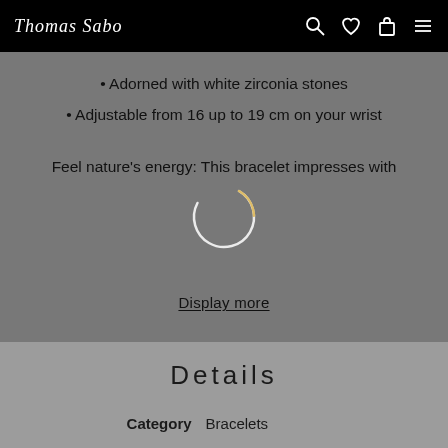Thomas Sabo
• Adorned with white zirconia stones
• Adjustable from 16 up to 19 cm on your wrist
Feel nature's energy: This bracelet impresses with
Display more
Details
| Category | Material |
| --- | --- |
| Bracelets | 18k rose gold plating, 925 |